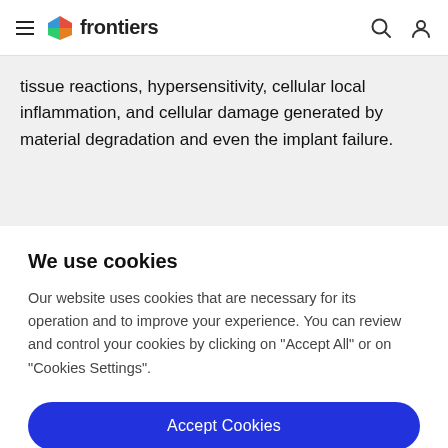frontiers
tissue reactions, hypersensitivity, cellular local inflammation, and cellular damage generated by material degradation and even the implant failure.
We use cookies
Our website uses cookies that are necessary for its operation and to improve your experience. You can review and control your cookies by clicking on "Accept All" or on "Cookies Settings".
Accept Cookies
Cookies Settings